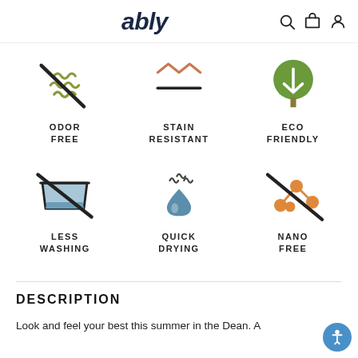ably — navigation header with menu, logo, search, cart, and account icons
[Figure (infographic): Six product feature icons in a 3x2 grid: Odor Free (wavy lines with X), Stain Resistant (zigzag line over horizontal bar), Eco Friendly (green tree with arrow), Less Washing (laundry tub with X), Quick Drying (steam drop), Nano Free (molecule with X)]
DESCRIPTION
Look and feel your best this summer in the Dean.  A